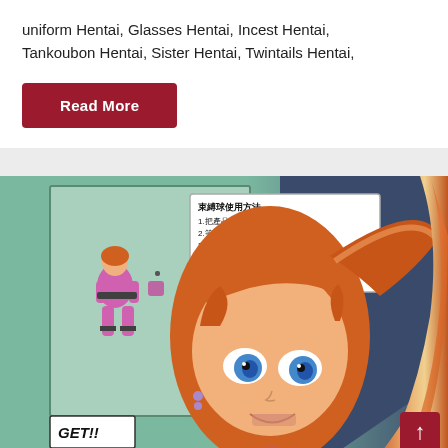uniform Hentai, Glasses Hentai, Incest Hentai, Tankoubon Hentai, Sister Hentai, Twintails Hentai,
Read More
[Figure (illustration): Anime/manga style illustration showing a female character in a pink bodysuit with orange hair and blue eyes. A text box in the upper portion contains Chinese text describing instructions (束縛球使用方法 / Binding Ball Usage Instructions). In the lower left corner is a smaller panel showing the same character full-body with the text GET!!. A red tentacle appears on the right side.]